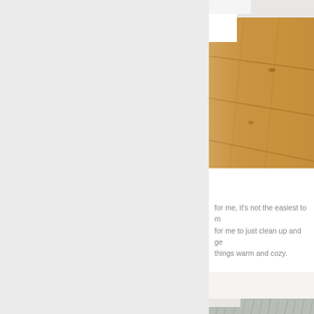[Figure (photo): Close-up photo of warm wood floor planks with white furniture edge visible at top]
for me, it's not the easiest to m... for me to just clean up and ge... things warm and cozy.
[Figure (photo): Minimalist white room scene with small decorative bottles/objects on white surface]
[Figure (photo): Partial view of white surface with fluffy grey fur texture visible at bottom]